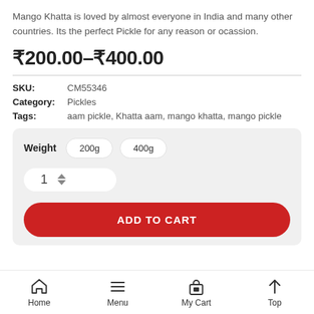Mango Khatta is loved by almost everyone in India and many other countries. Its the perfect Pickle for any reason or ocassion.
₹200.00–₹400.00
| SKU: | CM55346 |
| Category: | Pickles |
| Tags: | aam pickle, Khatta aam, mango khatta, mango pickle |
[Figure (screenshot): Product options panel with Weight selector showing 200g and 400g buttons, quantity spinner showing 1, and ADD TO CART red button]
Home   Menu   My Cart   Top